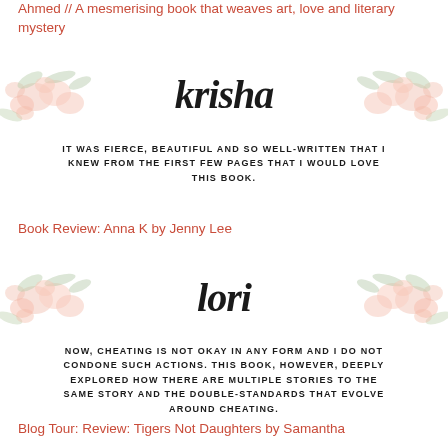Ahmed // A mesmerising book that weaves art, love and literary mystery
[Figure (illustration): Floral watercolor banner with cursive script name 'krisha' in center, pink roses and green leaves]
IT WAS FIERCE, BEAUTIFUL AND SO WELL-WRITTEN THAT I KNEW FROM THE FIRST FEW PAGES THAT I WOULD LOVE THIS BOOK.
Book Review: Anna K by Jenny Lee
[Figure (illustration): Floral watercolor banner with cursive script name 'lori' in center, pink roses and green leaves]
NOW, CHEATING IS NOT OKAY IN ANY FORM AND I DO NOT CONDONE SUCH ACTIONS. THIS BOOK, HOWEVER, DEEPLY EXPLORED HOW THERE ARE MULTIPLE STORIES TO THE SAME STORY AND THE DOUBLE-STANDARDS THAT EVOLVE AROUND CHEATING.
Blog Tour: Review: Tigers Not Daughters by Samantha